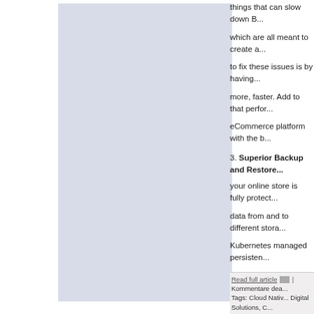[Figure (illustration): Large light blue-grey rectangular panel on the left side of the page]
things that can slow down B... which are all meant to create a... to fix these issues is by having... more, faster. Add to that perfor... eCommerce platform with the b...
3. Superior Backup and Restore...
your online store is fully protect... data from and to different stora... Kubernetes managed persisten...
Sweat the small stuff. Details are cru... backward to reverse engineer how y... supporting your business goals. Co...
One way to energize your eComme... native enterprise database that can h... ease-of-use needed to address toda...
Want details on how to achieve more...
Read full article | Kommentare dea... Tags: Cloud Nativ... Digital Solutions, C...